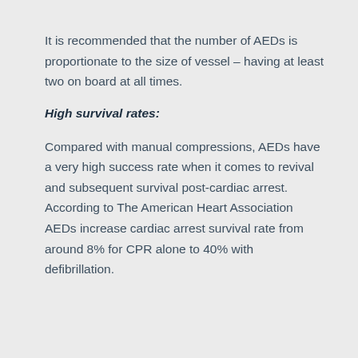It is recommended that the number of AEDs is proportionate to the size of vessel – having at least two on board at all times.
High survival rates:
Compared with manual compressions, AEDs have a very high success rate when it comes to revival and subsequent survival post-cardiac arrest. According to The American Heart Association AEDs increase cardiac arrest survival rate from around 8% for CPR alone to 40% with defibrillation.